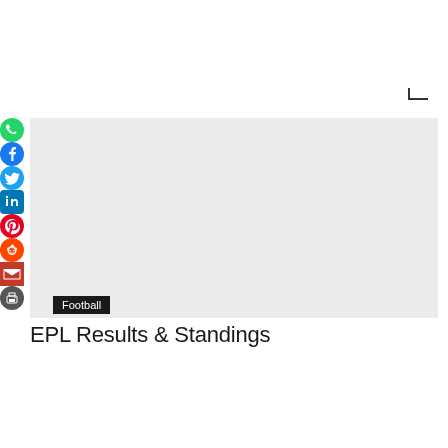[Figure (other): Gray hero image placeholder for article]
Football
EPL Results & Standings